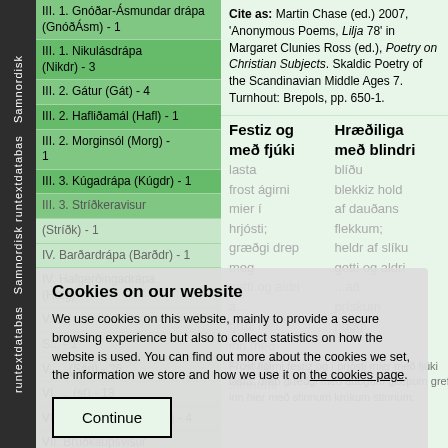Samnordisk runtextdatabas Samnordisk
III. 1. Gnóðar-Ásmundar drápa (GnóðÁsm) - 1
III. 1. Nikulásdrápa (Nikdr) - 3
III. 2. Gátur (Gát) - 4
III. 2. Hafliðamál (Hafl) - 1
III. 2. Morginsól (Morg) - 1
III. 3. Kúgadrápa (Kúgdr) - 1
III. 3. Stríðkeravisur (Stríðk) - 1
IV. Barðardrápa (Barðdr) - 1
IV. Hafgerðingadrápa (Hafg) - ...
V. ...
V. ... - 1
V. ... (Sári) - 26
VI. ... (st) - 13
VII. Andreasdrápa (Andr) - 4
VII. Brúðkaupsvisur (Brúðk) - 22
Cite as: Martin Chase (ed.) 2007, 'Anonymous Poems, Lilja 78' in Margaret Clunies Ross (ed.), Poetry on Christian Subjects. Skaldic Poetry of the Scandinavian Middle Ages 7. Turnhout: Brepols, pp. 650-1.
Festiz og með fjúki
lasta
frost ágirni
mier í
hrjósti;
græðgi drep
meg
getti og aldri
a...
grúz hier
inn með
krókum
stinnum.
Hræðiliga með blindri
blíðu
blekkiz hold
af dauðans
flekkum;
heldr af slíku
getti og aldri
...að
þrískum
huggi.
Frost ágirni festiz og í brjósti mier með fjúki lasta: drep græðgi með auðgum glæpum grefz inn hier með stinnum krókum stinnum.
Cookies on our website
We use cookies on this website, mainly to provide a secure browsing experience but also to collect statistics on how the website is used. You can find out more about the cookies we set, the information we store and how we use it on the cookies page.
Continue